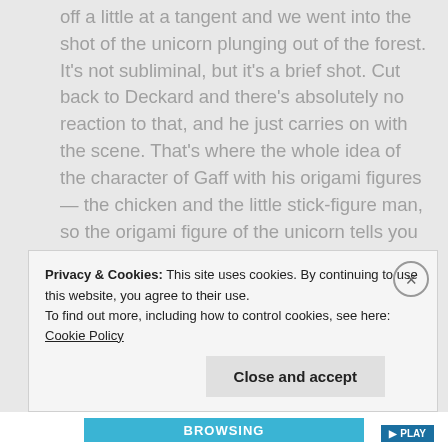off a little at a tangent and we went into the shot of the unicorn plunging out of the forest. It's not subliminal, but it's a brief shot. Cut back to Deckard and there's absolutely no reaction to that, and he just carries on with the scene. That's where the whole idea of the character of Gaff with his origami figures — the chicken and the little stick-figure man, so the origami figure of the unicorn tells you that Gaff has been there. One of the layers of the film has been talking about private thoughts and memories, so how would Gaff have known that a private [thought of Deckard was for a unicorn? The li...]
Privacy & Cookies: This site uses cookies. By continuing to use this website, you agree to their use.
To find out more, including how to control cookies, see here: Cookie Policy
Close and accept